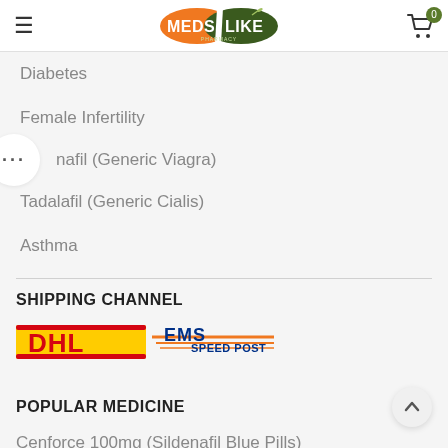[Figure (logo): MedsLike Pharmacy logo with orange and dark green pill-shaped design]
Diabetes
Female Infertility
••• nafil (Generic Viagra)
Tadalafil (Generic Cialis)
Asthma
SHIPPING CHANNEL
[Figure (logo): DHL and EMS Speed Post shipping carrier logos]
POPULAR MEDICINE
Cenforce 100mg (Sildenafil Blue Pills)